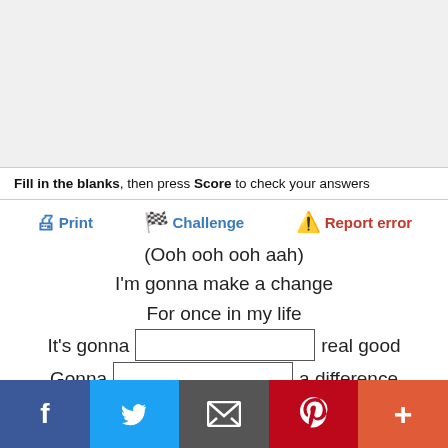[Figure (other): Top banner area, light gray background (advertisement placeholder)]
Fill in the blanks, then press Score to check your answers
Print  Challenge  Report error
(Ooh ooh ooh aah)
I'm gonna make a change
For once in my life
It's gonna [blank] real good
Gonna [blank] a difference
[blank] make it right
As I [blank] up the collar on
My favorite winter coat
This wind is [blank] my mind
I see the kids in the street
With not enough to eat
[Figure (infographic): Social sharing buttons bar: Facebook, Twitter, Email, Pinterest, More (+)]